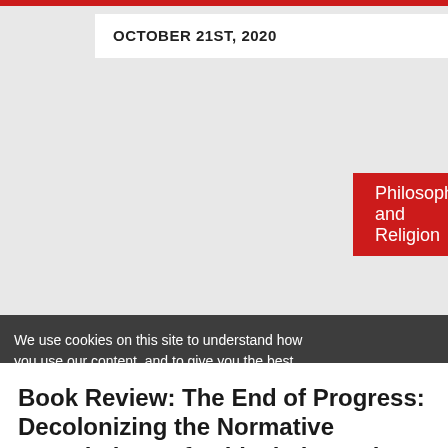OCTOBER 21ST, 2020
Philosophy and Religion
Book Review: The End of Progress: Decolonizing the Normative Foundations of Critical Theory by
We use cookies on this site to understand how you use our content, and to give you the best browsing experience. To accept cookies, click continue. To find out more about cookies and change your preferences, visit our Cookie Policy.